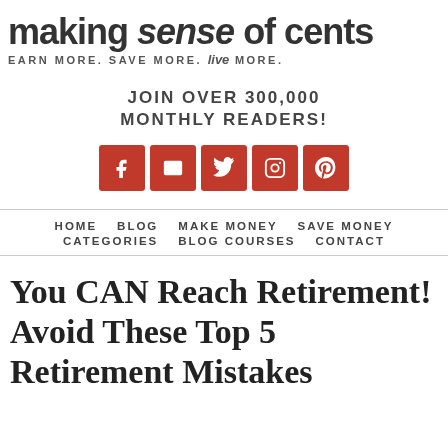making sense of cents — EARN MORE. SAVE MORE. live MORE.
JOIN OVER 300,000 MONTHLY READERS!
[Figure (infographic): Five social media icon buttons (Facebook, Email, Twitter, Instagram, Pinterest) in red/orange squares]
HOME  BLOG  MAKE MONEY  SAVE MONEY  CATEGORIES  BLOG COURSES  CONTACT
You CAN Reach Retirement! Avoid These Top 5 Retirement Mistakes